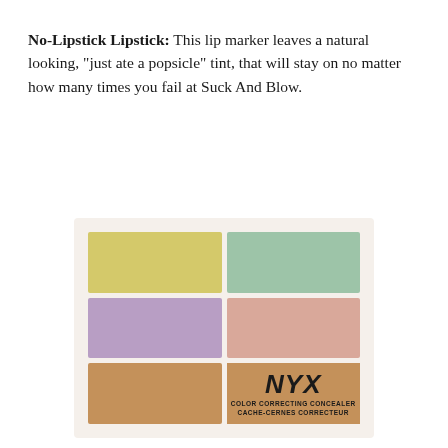No-Lipstick Lipstick: This lip marker leaves a natural looking, "just ate a popsicle" tint, that will stay on no matter how many times you fail at Suck And Blow.
[Figure (photo): NYX Color Correcting Concealer palette with 6 swatches: yellow, mint green, lavender, peach, tan/bronze, and a label section with NYX logo and product name 'Color Correcting Concealer / Cache-Cernes Correcteur']